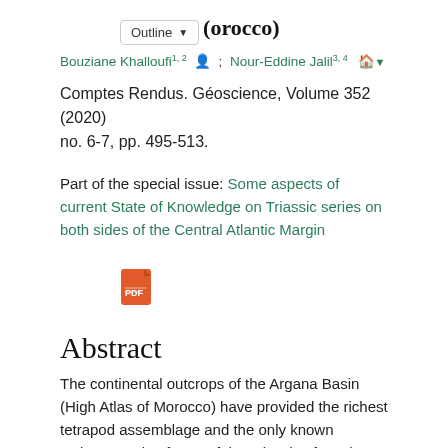Outline | (orocco)
Bouziane Khalloufi1, 2 ; Nour-Eddine Jalil3, 4
Comptes Rendus. Géoscience, Volume 352 (2020) no. 6-7, pp. 495-513.
Part of the special issue: Some aspects of current State of Knowledge on Triassic series on both sides of the Central Atlantic Margin
[Figure (other): PDF document icon in orange/red color]
Abstract
The continental outcrops of the Argana Basin (High Atlas of Morocco) have provided the richest tetrapod assemblage and the only known actinopterygian fauna of the Triassic of North